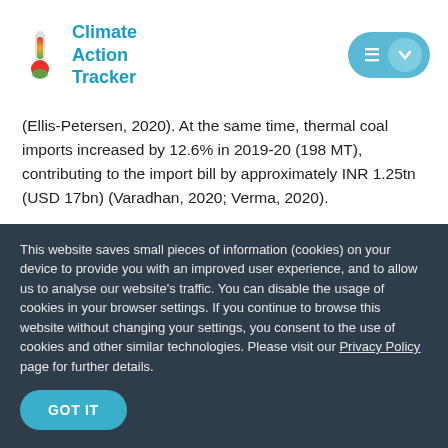Climate Action Tracker
(Ellis-Petersen, 2020). At the same time, thermal coal imports increased by 12.6% in 2019-20 (198 MT), contributing to the import bill by approximately INR 1.25tn (USD 17bn) (Varadhan, 2020; Verma, 2020).
In India, subsidies are available for both fossil fuels and renewable energy in the form of direct subsidy, fiscal incentives,
This website saves small pieces of information (cookies) on your device to provide you with an improved user experience, and to allow us to analyse our website's traffic. You can disable the usage of cookies in your browser settings. If you continue to browse this website without changing your settings, you consent to the use of cookies and other similar technologies. Please visit our Privacy Policy page for further details.